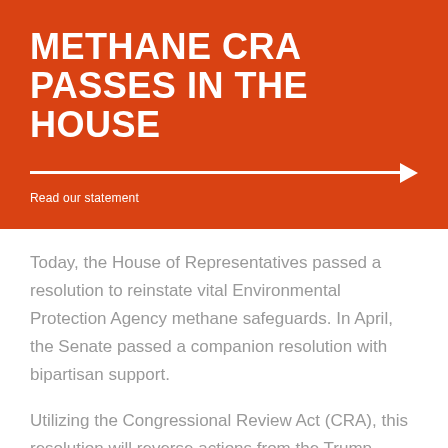METHANE CRA PASSES IN THE HOUSE
Read our statement
Today, the House of Representatives passed a resolution to reinstate vital Environmental Protection Agency methane safeguards. In April, the Senate passed a companion resolution with bipartisan support.
Utilizing the Congressional Review Act (CRA), this resolution will reverse actions from the Trump administration that sought to roll back